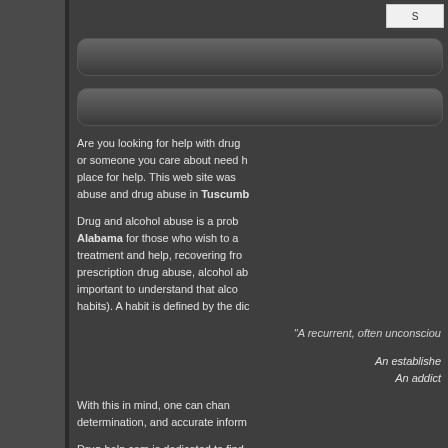[Figure (screenshot): Search box UI element in top right corner]
[Figure (screenshot): Navigation pill/button element 1]
[Figure (screenshot): Navigation pill/button element 2]
Are you looking for help with drug or someone you care about need help place for help. This web site was abuse and drug abuse in Tuscumb
Drug and alcohol abuse is a prob Alabama for those who wish to a treatment and help, recovering fro prescription drug abuse, alcohol ab important to understand that alco habits). A habit is defined by the dic
"A recurrent, often unconsciou
An establishe An addict
With this in mind, one can chan determination, and accurate inform
Drug-help.com is dedicated to find abuse problem. Our referral netw can overcome drug or alcohol abus
Alcohol Help, Tuscumbia, Alabar
Alcohol help is this